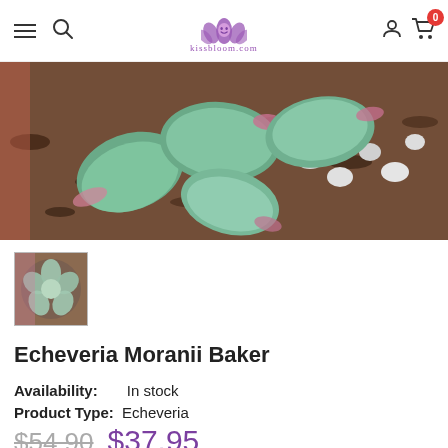kissbloom.com — navigation header with hamburger, search, logo, account, and cart (0 items)
[Figure (photo): Close-up photo of Echeveria Moranii Baker succulent leaves with pink-tipped green leaves resting on brown soil/mulch with white pebbles]
[Figure (photo): Small thumbnail image of Echeveria Moranii Baker succulent rosette]
Echeveria Moranii Baker
Availability: In stock
Product Type: Echeveria
$54.90  $37.95